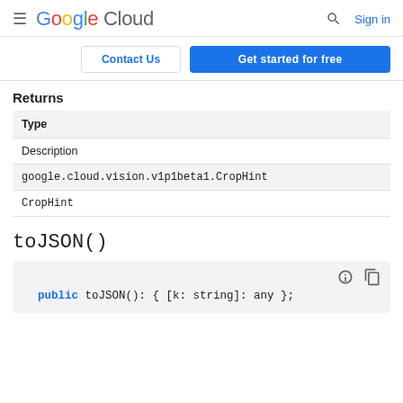Google Cloud — Search | Sign in
Contact Us | Get started for free
Returns
| Type |
| --- |
| Description |
| google.cloud.vision.v1p1beta1.CropHint |
| CropHint |
toJSON()